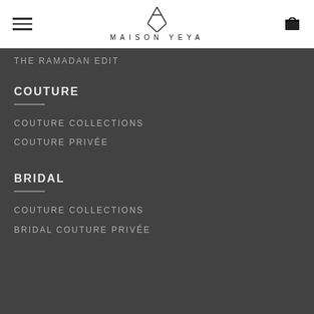MAISON YEYA
THE RAMADAN EDIT
COUTURE
COUTURE COLLECTIONS
COUTURE PRIVÉE
BRIDAL
COUTURE COLLECTIONS
BRIDAL COUTURE PRIVÉE